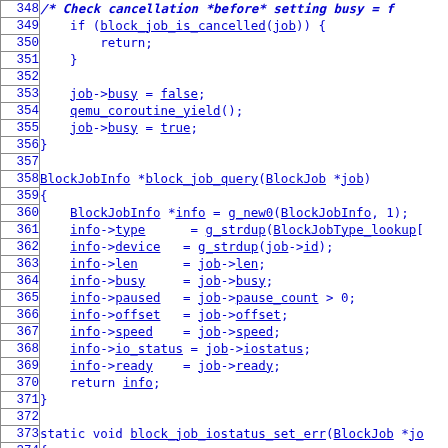[Figure (screenshot): Source code listing showing C code for block job functions, lines 348-377, with line numbers on the left and code with hyperlinked identifiers on the right.]